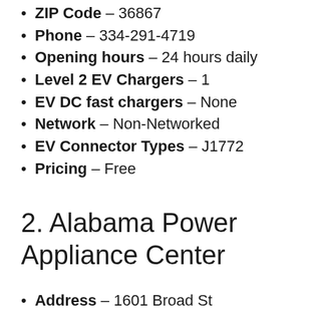ZIP Code – 36867
Phone – 334-291-4719
Opening hours – 24 hours daily
Level 2 EV Chargers – 1
EV DC fast chargers – None
Network – Non-Networked
EV Connector Types – J1772
Pricing – Free
2. Alabama Power Appliance Center
Address – 1601 Broad St